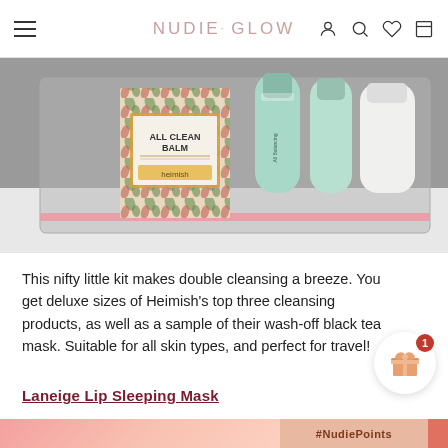NUDIE GLOW
[Figure (photo): Product flatlay photo showing Heimish All Clean Balm box with tropical leaf print packaging, alongside mint/teal tubes of skincare products, arranged in a clear cosmetic pouch on a white surface]
This nifty little kit makes double cleansing a breeze. You get deluxe sizes of Heimish's top three cleansing products, as well as a sample of their wash-off black tea mask. Suitable for all skin types, and perfect for travel!
Laneige Lip Sleeping Mask
[Figure (photo): Bottom strip showing a pink/coral product image on the left and a '#NudiePoints' promotional badge on the right with peach background]